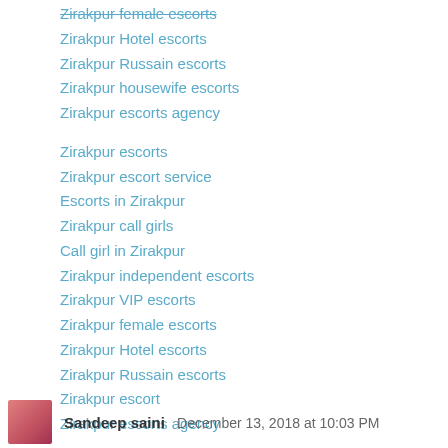Zirakpur female escorts
Zirakpur Hotel escorts
Zirakpur Russain escorts
Zirakpur housewife escorts
Zirakpur escorts agency
Zirakpur escorts
Zirakpur escort service
Escorts in Zirakpur
Zirakpur call girls
Call girl in Zirakpur
Zirakpur independent escorts
Zirakpur VIP escorts
Zirakpur female escorts
Zirakpur Hotel escorts
Zirakpur Russain escorts
Zirakpur escort
Zirakpur escorts agency
Reply
Sandeep saini   December 13, 2018 at 10:03 PM